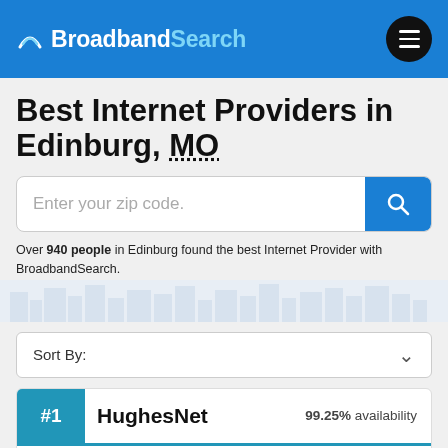Broadband Search
Best Internet Providers in Edinburg, MO
Over 940 people in Edinburg found the best Internet Provider with BroadbandSearch.
Sort By:
#1 HughesNet 99.25% availability
[Figure (logo): HughesNet logo in teal/blue color]